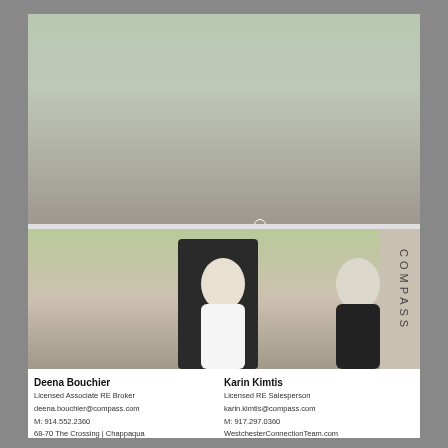[Figure (photo): Two women sitting on outdoor furniture in front of a house]
We provide buyers and sellers unsurpassed focus, breadth of knowledge and certainty the deal will get done right.
The Miller-Goldenberg Team. We are Westchester.
Victoria Miller
Licensed Real Estate Salesperson
tory.miller@compass.com
M: 646.220.5321
Debra Goldenberg
Licensed Real Estate Salesperson
debbie.goldenberg@compass.com
M: 914.656.3287
COMPASS
[Figure (photo): Two blonde women in front of a house doorway, with COMPASS text vertical on right]
Deena Bouchier
Licensed Associate RE Broker
deena.bouchier@compass.com
M: 914.552.2360
68-70 The Crossing | Chappaqua
Karin Kimtis
Licensed RE Salesperson
karin.kimtis@compass.com
M: 917.297.0360
WestchesterConnectionTeam.com